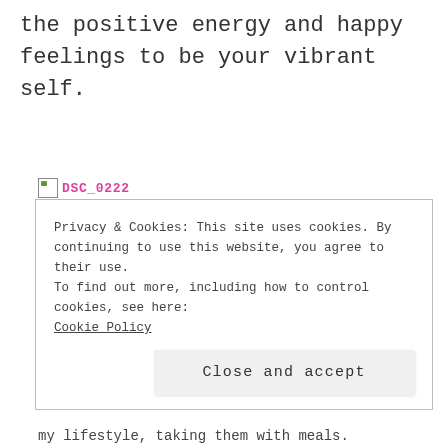the positive energy and happy feelings to be your vibrant self.
[Figure (photo): Broken image placeholder with alt text DSC_0222 in pink/magenta bold monospace font]
Privacy & Cookies: This site uses cookies. By continuing to use this website, you agree to their use.
To find out more, including how to control cookies, see here:
Cookie Policy
[Close and accept]
my lifestyle, taking them with meals.